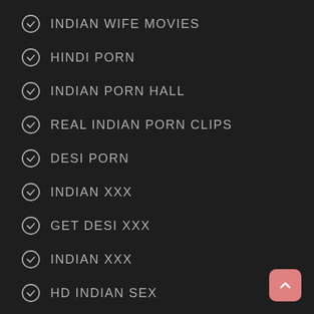INDIAN WIFE MOVIES
HINDI PORN
INDIAN PORN HALL
REAL INDIAN PORN CLIPS
DESI PORN
INDIAN XXX
GET DESI XXX
INDIAN XXX
HD INDIAN SEX